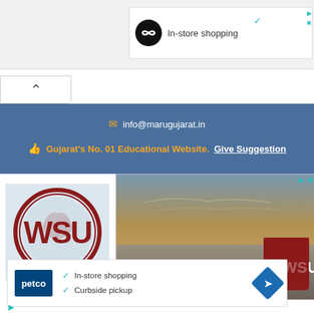[Figure (screenshot): Top advertisement bar with black circle icon and 'In-store shopping' text, with ad controls (play/close buttons)]
[Figure (screenshot): Collapse/chevron-up button UI element]
info@marugujarat.in
Gujarat's No. 01 Educational Website.  Give Suggestion
[Figure (logo): Washington State University (WSU) circular logo with Cougar head]
[Figure (photo): Washington State University exterior sign with large text 'NGTON STATE' and WSU shield logo on stone wall at dusk]
[Figure (screenshot): Petco advertisement with logo, checkmarks for 'In-store shopping' and 'Curbside pickup', and navigation icon]
[Figure (screenshot): Bottom ad controls with play and close (X) icons]